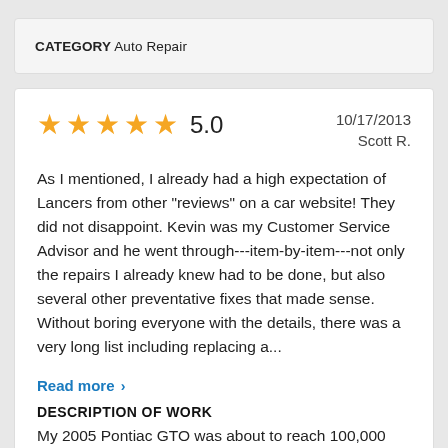CATEGORY Auto Repair
★★★★★ 5.0   10/17/2013
Scott R.
As I mentioned, I already had a high expectation of Lancers from other "reviews" on a car website! They did not disappoint. Kevin was my Customer Service Advisor and he went through---item-by-item---not only the repairs I already knew had to be done, but also several other preventative fixes that made sense. Without boring everyone with the details, there was a very long list including replacing a...
Read more >
DESCRIPTION OF WORK
My 2005 Pontiac GTO was about to reach 100,000